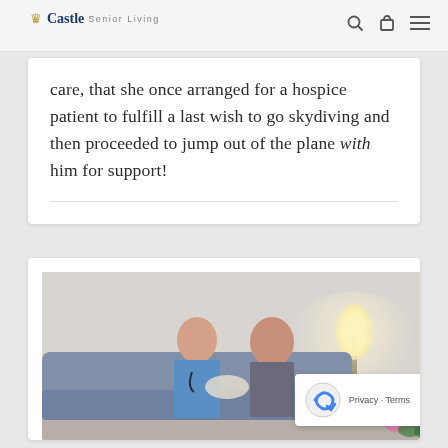Castle Senior Living
care, that she once arranged for a hospice patient to fulfill a last wish to go skydiving and then proceeded to jump out of the plane with him for support!
[Figure (photo): A nurse in blue scrubs with a stethoscope sits beside an elderly woman on a couch, both looking at a photo or document together. A lamp and pink flowers are visible in the background.]